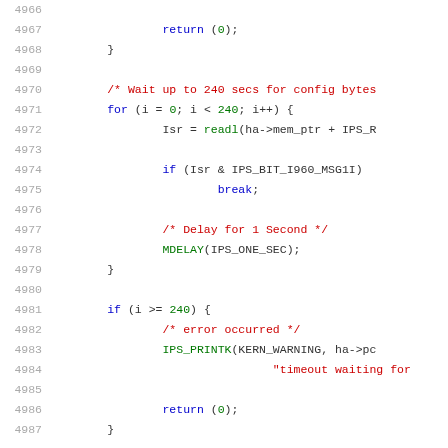[Figure (screenshot): Source code listing showing C code with syntax highlighting. Line numbers 4966-4987 are visible. The code shows a loop waiting up to 240 seconds for config bytes, with ISR checks, delays, and error handling with IPS_PRINTK and return statements.]